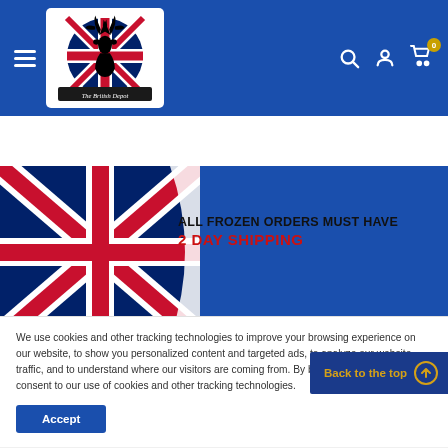[Figure (logo): The British Depot logo — deer silhouette over Union Jack flag in a circle, with banner text 'The British Depot']
[Figure (illustration): Banner with Union Jack flag on left and text: ALL FROZEN ORDERS MUST HAVE 2 DAY SHIPPING on white/blue background]
We use cookies and other tracking technologies to improve your browsing experience on our website, to show you personalized content and targeted ads, to analyze our website traffic, and to understand where our visitors are coming from. By browsing our website, you consent to our use of cookies and other tracking technologies.
Accept
Back to the top